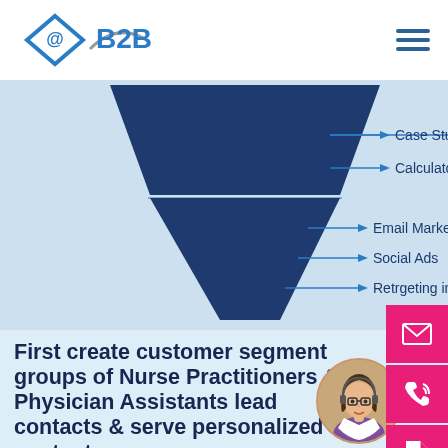@B2B
[Figure (infographic): Marketing funnel diagram with dark navy blue funnel shape. Arrows pointing right label sections: Case Studies, Calculator (upper portion), Email Marketing, Social Ads, Retrgeting init... (lower portion). Background is light blue.]
First create customer segment groups of Nurse Practitioners & Physician Assistants lead contacts & serve personalized content.